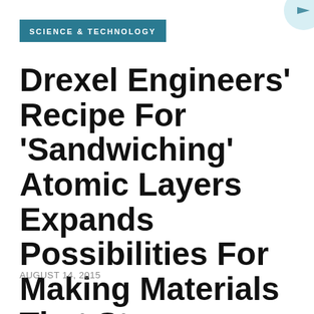SCIENCE & TECHNOLOGY
Drexel Engineers' Recipe For 'Sandwiching' Atomic Layers Expands Possibilities For Making Materials That Store Energy
AUGUST 14, 2015